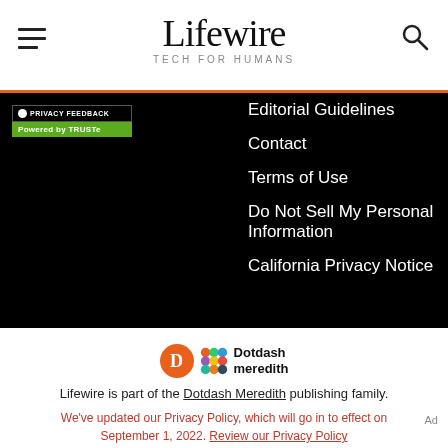Lifewire TECH FOR HUMANS
Editorial Guidelines
Contact
Terms of Use
Do Not Sell My Personal Information
California Privacy Notice
[Figure (logo): Dotdash Meredith logo with orange D circle and colored grid dots]
Lifewire is part of the Dotdash Meredith publishing family.
We've updated our Privacy Policy, which will go in to effect on September 1, 2022. Review our Privacy Policy